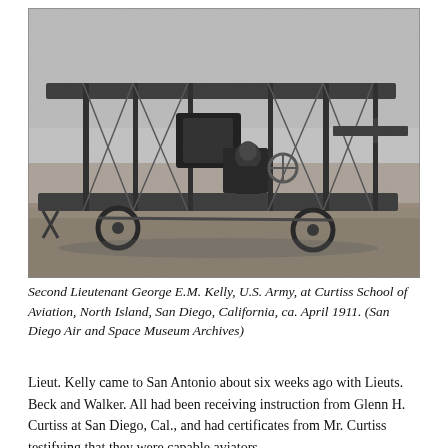[Figure (photo): Black and white photograph of Second Lieutenant George E.M. Kelly, U.S. Army, seated in a biplane aircraft on the ground at Curtiss School of Aviation, North Island, San Diego, California, ca. April 1911.]
Second Lieutenant George E.M. Kelly, U.S. Army, at Curtiss School of Aviation, North Island, San Diego, California, ca. April 1911. (San Diego Air and Space Museum Archives)
Lieut. Kelly came to San Antonio about six weeks ago with Lieuts. Beck and Walker. All had been receiving instruction from Glenn H. Curtiss at San Diego, Cal., and had certificates from Mr. Curtiss testifying that they were capable aviators.